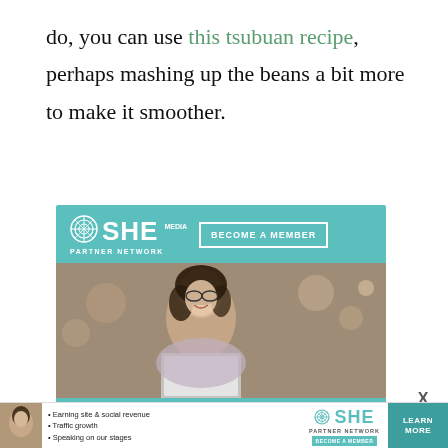do, you can use this tsubuan recipe, perhaps mashing up the beans a bit more to make it smoother.
[Figure (infographic): SHE Media Partner Network advertisement. Teal background with SHE Media logo and 'BECOME A MEMBER' button at top. Photo of smiling woman with glasses and curly hair looking at a laptop. Bottom section reads 'WE HELP CONTENT CREATORS GROW BUSINESSES THROUGH...' with a 'LEARN MORE' button.]
[Figure (infographic): Bottom banner SHE Media Partner Network ad with bullet points: Earning site & social revenue, Traffic growth, Speaking on our stages. SHE logo and LEARN MORE button.]